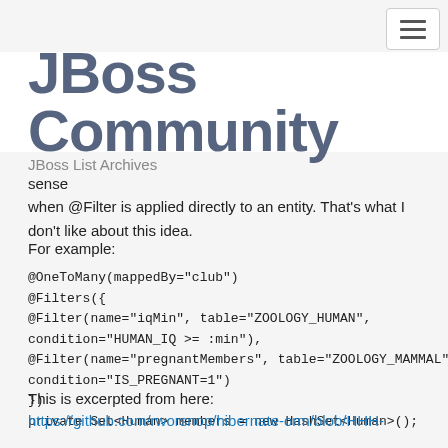[Figure (logo): JBoss Community logo with large stylized dark blue text on white background]
JBoss List Archives
sense
when @Filter is applied directly to an entity. That's what I don't like about this idea.
For example:
@OneToMany(mappedBy="club")
@Filters({
@Filter(name="iqMin", table="ZOOLOGY_HUMAN",
condition="HUMAN_IQ >= :min"),
@Filter(name="pregnantMembers", table="ZOOLOGY_MAMMAL",
condition="IS_PREGNANT=1")
})
private Set<Human> members = new HashSet<Human>();
This is excerpted from here:
https://github.com/rworsnop/hibernate-orm/blob/HHH-